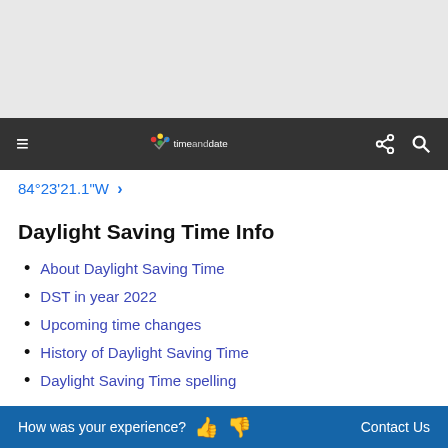[Figure (screenshot): Gray banner/advertisement area at top of page]
timeanddate — navigation bar with hamburger menu, logo, share and search icons
84°23'21.1"W >
Daylight Saving Time Info
About Daylight Saving Time
DST in year 2022
Upcoming time changes
History of Daylight Saving Time
Daylight Saving Time spelling
Need some help?
How was your experience? [thumbs up] [thumbs down]   Contact Us